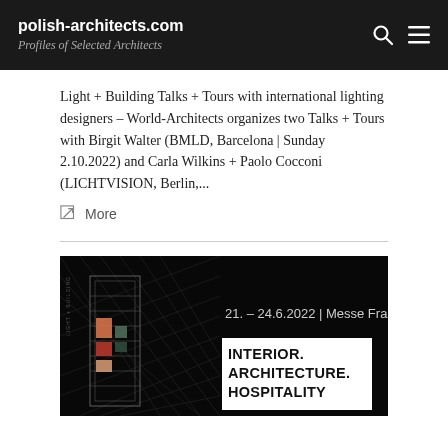polish-architects.com
Profiles of Selected Architects
Light + Building Talks + Tours with international lighting designers – World-Architects organizes two Talks + Tours with Birgit Walter (BMLD, Barcelona | Sunday 2.10.2022) and Carla Wilkins + Paolo Cocconi (LICHTVISION, Berlin,...
More
[Figure (photo): Dark promotional banner for an interior architecture event at Messe Frankfurt, 21–24.6.2022. Shows architectural wireframe-style building illustration on left, with text 'INTERIOR. ARCHITECTURE. HOSPITALITY.' on right against black background.]